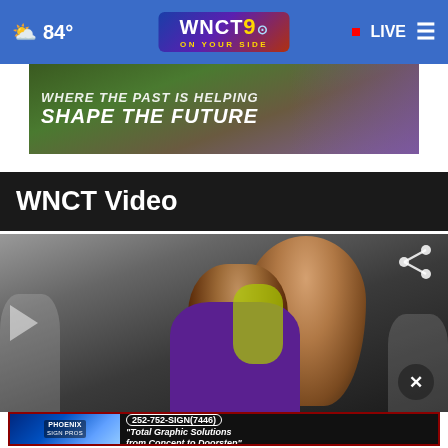84° WNCT 9 ON YOUR SIDE | LIVE
[Figure (screenshot): Advertisement banner: WHERE THE PAST IS HELPING SHAPE THE FUTURE, with floral background]
WNCT Video
[Figure (screenshot): Video player showing two people hugging outdoors, with play button, share button, and close button overlay]
[Figure (screenshot): Phoenix Sign Pros advertisement: 252-752-SIGN(7446) Total Graphic Solutions from Concept to Doorstep]